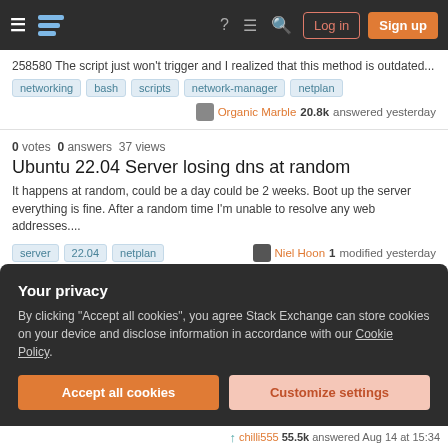Stack Exchange navigation bar with Log in and Sign up buttons
258580 The script just won't trigger and I realized that this method is outdated...
networking  bash  scripts  network-manager  netplan
Organic Marble 20.8k answered yesterday
0 votes  0 answers  37 views
Ubuntu 22.04 Server losing dns at random
It happens at random, could be a day could be 2 weeks. Boot up the server everything is fine. After a random time I'm unable to resolve any web addresses....
server  22.04  netplan
Niel Hoon 1 modified yesterday
Your privacy
By clicking "Accept all cookies", you agree Stack Exchange can store cookies on your device and disclose information in accordance with our Cookie Policy.
Accept all cookies
Customize settings
chilli555 55.5k answered Aug 14 at 15:34